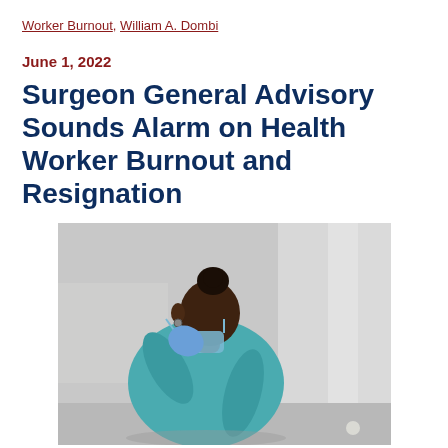Worker Burnout, William A. Dombi
June 1, 2022
Surgeon General Advisory Sounds Alarm on Health Worker Burnout and Resignation
[Figure (photo): A Black female healthcare worker in teal scrubs with a surgical mask pulled down, wearing blue latex gloves, leaning against a wall with head bowed and eyes closed in a posture of exhaustion or distress.]